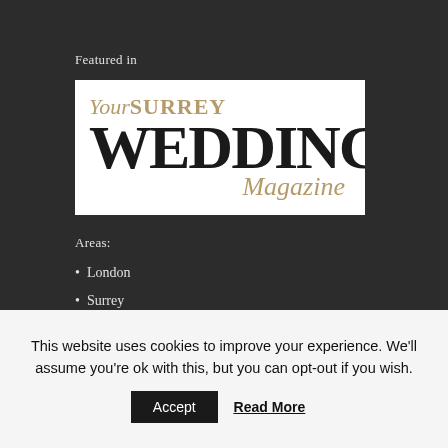Featured in
[Figure (logo): Your Surrey Wedding Magazine logo — 'Your' in italic gold script, 'SURREY' in bold gold serif, 'WEDDING' in large bold black serif, 'Magazine' in italic gold script. White background.]
Areas:
London
Surrey
This website uses cookies to improve your experience. We'll assume you're ok with this, but you can opt-out if you wish.
Accept
Read More